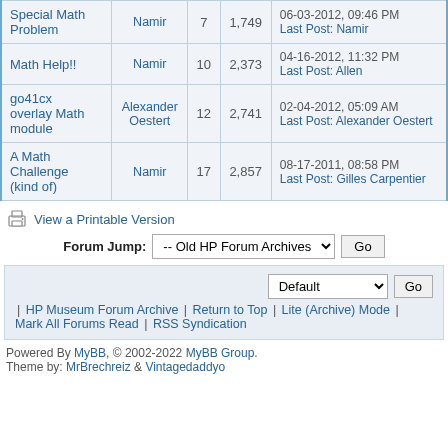| Topic | Author | Replies | Views | Last Post |
| --- | --- | --- | --- | --- |
| Special Math Problem | Namir | 7 | 1,749 | 06-03-2012, 09:46 PM
Last Post: Namir |
| Math Help!! | Namir | 10 | 2,373 | 04-16-2012, 11:32 PM
Last Post: Allen |
| go41cx overlay Math module | Alexander Oestert | 12 | 2,741 | 02-04-2012, 05:09 AM
Last Post: Alexander Oestert |
| A Math Challenge (kind of) | Namir | 17 | 2,857 | 08-17-2011, 08:58 PM
Last Post: Gilles Carpentier |
View a Printable Version
Forum Jump: -- Old HP Forum Archives   Go
Default   Go | HP Museum Forum Archive | Return to Top | Lite (Archive) Mode | Mark All Forums Read | RSS Syndication
Powered By MyBB, © 2002-2022 MyBB Group.
Theme by: MrBrechreiz & Vintagedaddyo